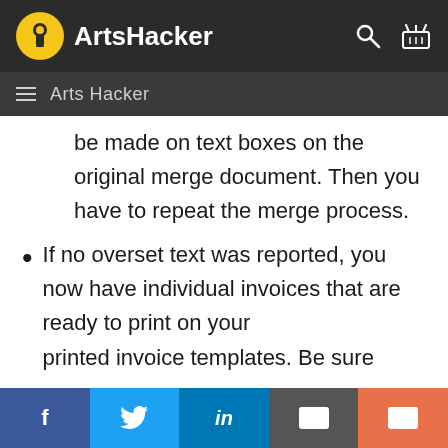ArtsHacker
Arts Hacker
be made on text boxes on the original merge document. Then you have to repeat the merge process.
If no overset text was reported, you now have individual invoices that are ready to print on your printed invoice templates. Be sure
f  [Twitter bird]  in  [envelope]  [envelope]